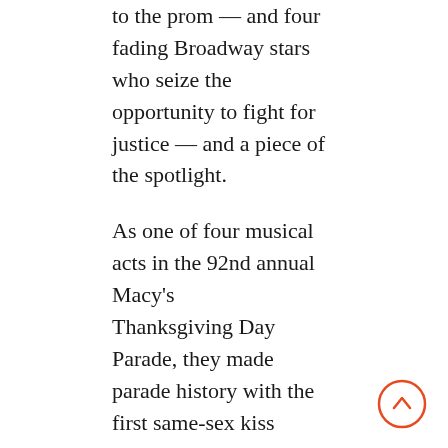to the prom — and four fading Broadway stars who seize the opportunity to fight for justice — and a piece of the spotlight.
As one of four musical acts in the 92nd annual Macy's Thanksgiving Day Parade, they made parade history with the first same-sex kiss televised live.
Here is that performance: https://youtu.be/VDZDLJjzJBI
And the cast also performed live on “Late Night with Seth Meyers.”